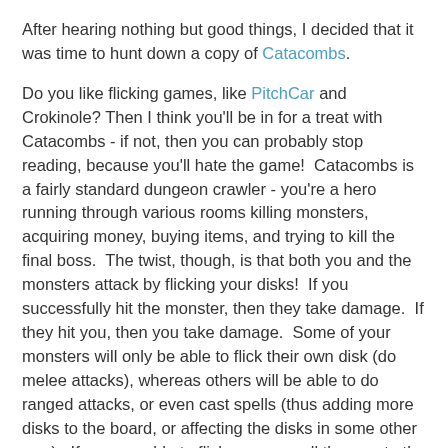After hearing nothing but good things, I decided that it was time to hunt down a copy of Catacombs.
Do you like flicking games, like PitchCar and Crokinole? Then I think you'll be in for a treat with Catacombs - if not, then you can probably stop reading, because you'll hate the game!  Catacombs is a fairly standard dungeon crawler - you're a hero running through various rooms killing monsters, acquiring money, buying items, and trying to kill the final boss.  The twist, though, is that both you and the monsters attack by flicking your disks!  If you successfully hit the monster, then they take damage.  If they hit you, then you take damage.  Some of your monsters will only be able to flick their own disk (do melee attacks), whereas others will be able to do ranged attacks, or even cast spells (thus adding more disks to the board, or affecting the disks in some other way).  If you are able to flick your way all the way to the final room and defeat the evil overlord, then you have won!  (Oh, and you've also beaten your friend who actually gets to flick the disks belonging to the bad guys.)